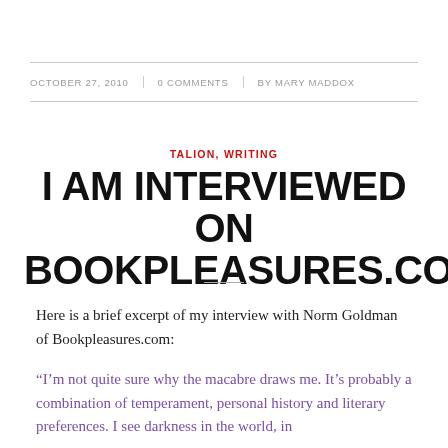OCTOBER 27, 2010 | 0 COMMENTS | BY MARY MADDOX
TALION, WRITING
I AM INTERVIEWED ON BOOKPLEASURES.COM
Here is a brief excerpt of my interview with Norm Goldman of Bookpleasures.com:
“I’m not quite sure why the macabre draws me. It’s probably a combination of temperament, personal history and literary preferences. I see darkness in the world, in